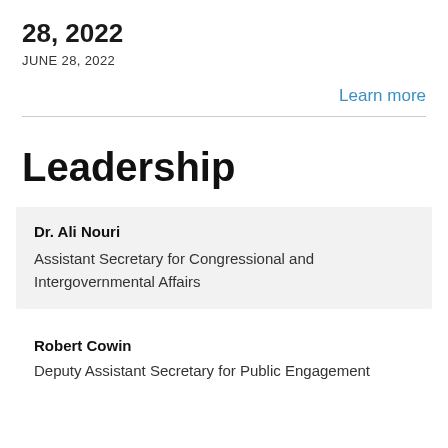28, 2022
JUNE 28, 2022
Learn more
Leadership
Dr. Ali Nouri
Assistant Secretary for Congressional and Intergovernmental Affairs
Robert Cowin
Deputy Assistant Secretary for Public Engagement